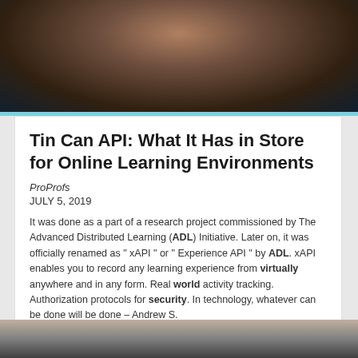[Figure (photo): Dark photo of a hand holding an object, dark brown and teal background tones]
Tin Can API: What It Has in Store for Online Learning Environments
ProProfs
JULY 5, 2019
It was done as a part of a research project commissioned by The Advanced Distributed Learning (ADL) Initiative. Later on, it was officially renamed as " xAPI " or " Experience API " by ADL. xAPI enables you to record any learning experience from virtually anywhere and in any form. Real world activity tracking. Authorization protocols for security. In technology, whatever can be done will be done – Andrew S.
[Figure (photo): Partial photo visible at bottom of page, dark tones]